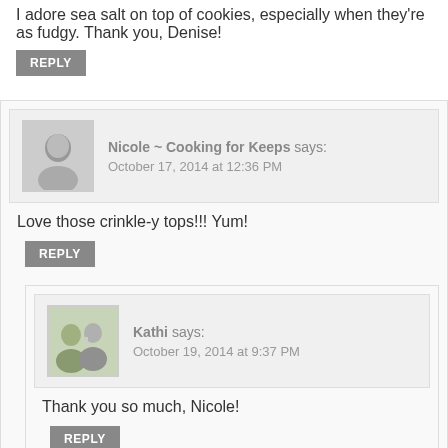I adore sea salt on top of cookies, especially when they're as fudgy. Thank you, Denise!
REPLY
Nicole ~ Cooking for Keeps says: October 17, 2014 at 12:36 PM
Love those crinkle-y tops!!! Yum!
REPLY
Kathi says: October 19, 2014 at 9:37 PM
Thank you so much, Nicole!
REPLY